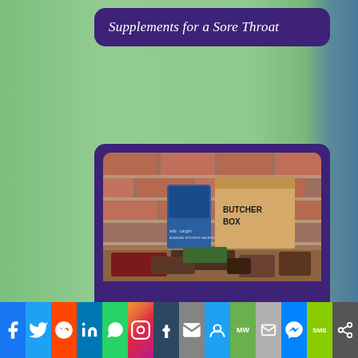Supplements for a Sore Throat
[Figure (photo): Photograph of Butcher Box products laid out on a wooden surface in front of a brick wall: various meat packages, a blue bag labeled 'wild caught Alaskan Sockeye Salmon', and a brown cardboard box labeled 'BUTCHER BOX']
Butcher Box
Social sharing bar with Facebook, Twitter, Reddit, LinkedIn, WhatsApp, Instagram, Tumblr, Email, MeWe, MW, Mail, Messenger, SMS, Share icons